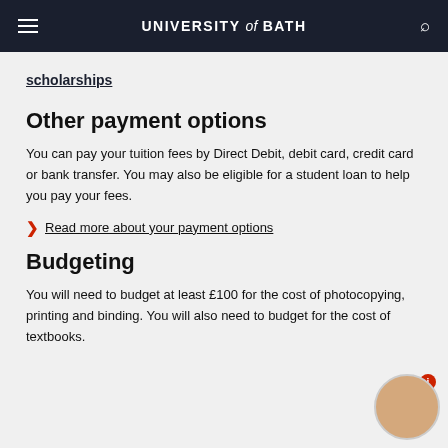UNIVERSITY of BATH
scholarships
Other payment options
You can pay your tuition fees by Direct Debit, debit card, credit card or bank transfer. You may also be eligible for a student loan to help you pay your fees.
Read more about your payment options
Budgeting
You will need to budget at least £100 for the cost of photocopying, printing and binding. You will also need to budget for the cost of textbooks.